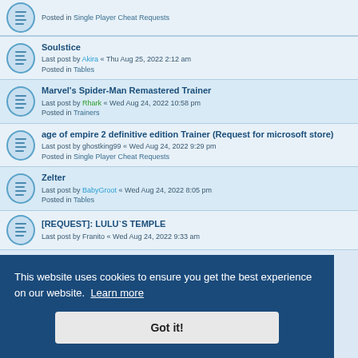Posted in Single Player Cheat Requests
Soulstice
Last post by Akira « Thu Aug 25, 2022 2:12 am
Posted in Tables
Marvel's Spider-Man Remastered Trainer
Last post by Rhark « Wed Aug 24, 2022 10:58 pm
Posted in Trainers
age of empire 2 definitive edition Trainer (Request for microsoft store)
Last post by ghostking99 « Wed Aug 24, 2022 9:29 pm
Posted in Single Player Cheat Requests
Zelter
Last post by BabyGroot « Wed Aug 24, 2022 8:05 pm
Posted in Tables
[REQUEST]: LULU`S TEMPLE
Last post by Franito « Wed Aug 24, 2022 9:33 am
Posted in Single Player Cheat Requests
This website uses cookies to ensure you get the best experience on our website. Learn more
Got it!